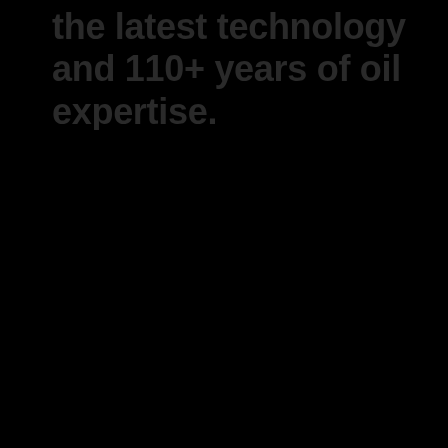the latest technology and 110+ years of oil expertise.
[Figure (photo): Dark/black background image occupying the majority of the page below the title text, likely an industrial or oil-related photograph rendered very dark.]